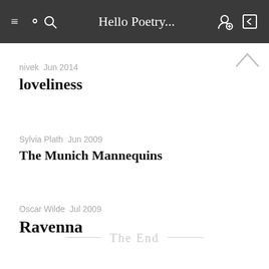Hello Poetry...
nivek  Jun 2014
loveliness
Sylvia Plath  Jun 2009
The Munich Mannequins
Oscar Wilde  Jul 2009
Ravenna
— The End —